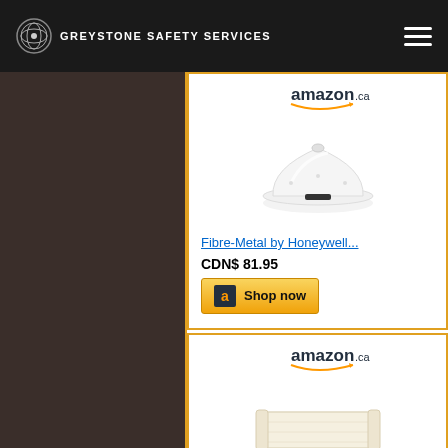Greystone Safety Services
[Figure (photo): Product card from Amazon.ca showing a white fibre-metal hard hat by Honeywell]
Fibre-Metal by Honeywell...
CDN$ 81.95
[Figure (other): Shop now button with Amazon logo]
[Figure (photo): Product card from Amazon.ca showing Hardhat Sweatbands]
Hardhat Sweatbands -...